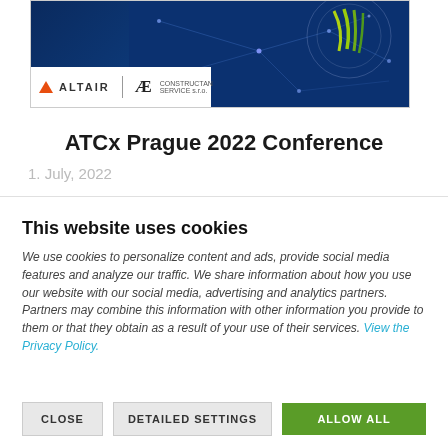[Figure (screenshot): Banner image showing Altair and AE logos on white bar with dark blue network graph/jellyfish visualization in background. Navigation arrows on left and right.]
ATCx Prague 2022 Conference
1. July, 2022
This website uses cookies
We use cookies to personalize content and ads, provide social media features and analyze our traffic. We share information about how you use our website with our social media, advertising and analytics partners. Partners may combine this information with other information you provide to them or that they obtain as a result of your use of their services. View the Privacy Policy.